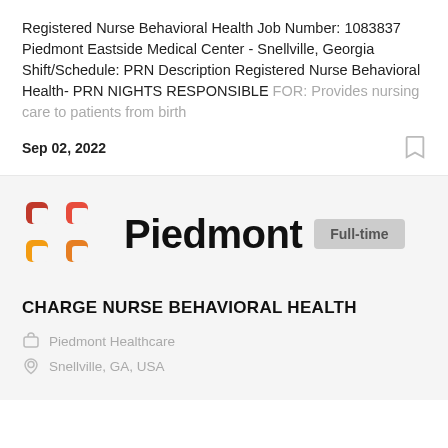Registered Nurse Behavioral Health Job Number: 1083837 Piedmont Eastside Medical Center - Snellville, Georgia Shift/Schedule: PRN Description Registered Nurse Behavioral Health- PRN NIGHTS RESPONSIBLE FOR: Provides nursing care to patients from birth
Sep 02, 2022
[Figure (logo): Piedmont Healthcare logo with orange/red bracket-like icon on left and 'Piedmont' in bold black text, with a light gray 'Full-time' badge to the right]
CHARGE NURSE BEHAVIORAL HEALTH
Piedmont Healthcare
Snellville, GA, USA